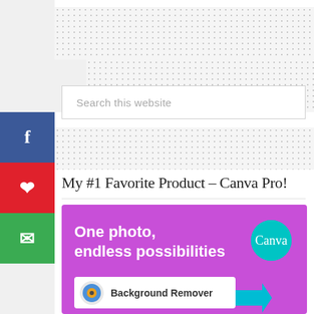[Figure (infographic): Social media share sidebar with Facebook (blue), Pinterest (red), and Email/mail (green) buttons on the left edge]
[Figure (screenshot): Search bar with placeholder text 'Search this website' on a white background with light border]
My #1 Favorite Product – Canva Pro!
[Figure (illustration): Canva Pro promotional banner with purple background showing text 'One photo, endless possibilities', Canva teal circle logo, and a Background Remover button with teal arrow cursor]